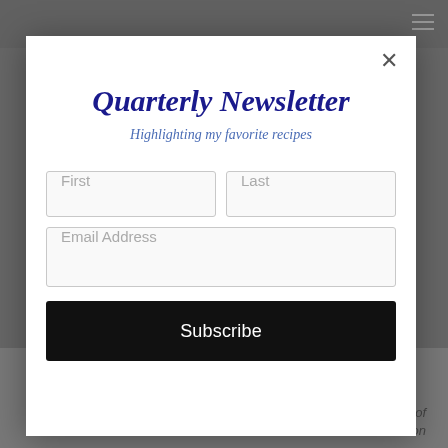[Figure (screenshot): Website page with gray top navigation bar containing hamburger menu icon, partially visible website content in background behind modal overlay]
Quarterly Newsletter
Highlighting my favorite recipes
First
Last
Email Address
Subscribe
2022  issue  of
"Charleston